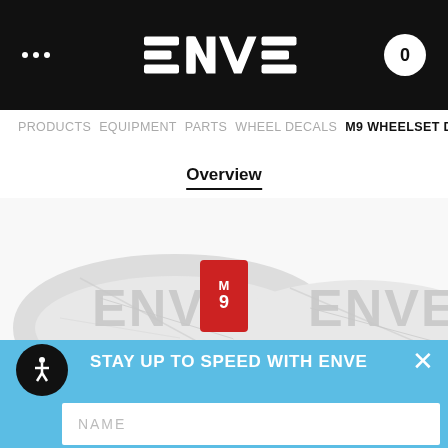ENVE navigation bar with logo and cart (0)
PRODUCTS  EQUIPMENT  PARTS  WHEEL DECALS  M9 WHEELSET DECALS
Overview
[Figure (photo): M9 wheelset decals product photo showing white marble-pattern decals with red M9 badge]
STAY UP TO SPEED WITH ENVE
NAME